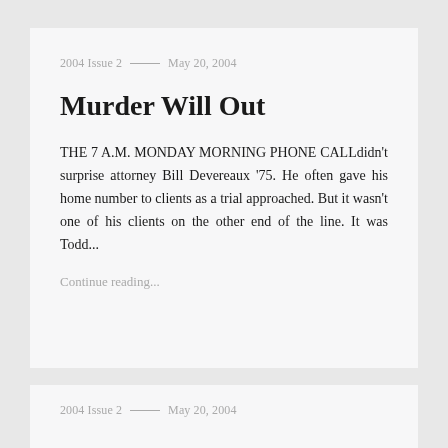2004 Issue 2 — May 20, 2004
Murder Will Out
THE 7 A.M. MONDAY MORNING PHONE CALLdidn't surprise attorney Bill Devereaux '75. He often gave his home number to clients as a trial approached. But it wasn't one of his clients on the other end of the line. It was Todd...
Continue reading...
2004 Issue 2 — May 20, 2004